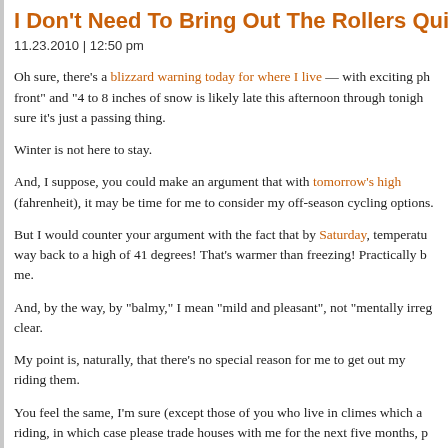I Don't Need To Bring Out The Rollers Quite...
11.23.2010 | 12:50 pm
Oh sure, there's a blizzard warning today for where I live — with exciting ph... front" and "4 to 8 inches of snow is likely late this afternoon through tonigh... sure it's just a passing thing.
Winter is not here to stay.
And, I suppose, you could make an argument that with tomorrow's high... (fahrenheit), it may be time for me to consider my off-season cycling options.
But I would counter your argument with the fact that by Saturday, temperatu... way back to a high of 41 degrees! That's warmer than freezing! Practically b... me.
And, by the way, by "balmy," I mean "mild and pleasant", not "mentally irreg... clear.
My point is, naturally, that there's no special reason for me to get out my... riding them.
You feel the same, I'm sure (except those of you who live in climes which a... riding, in which case please trade houses with me for the next five months, p...
The following are additional reasons why I feel it is not yet necessary to co... rollers: